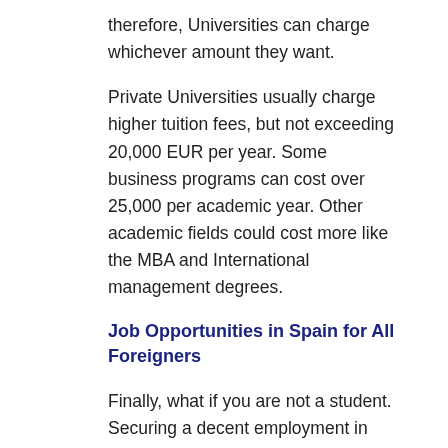therefore, Universities can charge whichever amount they want.
Private Universities usually charge higher tuition fees, but not exceeding 20,000 EUR per year. Some business programs can cost over 25,000 per academic year. Other academic fields could cost more like the MBA and International management degrees.
Job Opportunities in Spain for All Foreigners
Finally, what if you are not a student. Securing a decent employment in Spain may be challenging because you will be competing against Spanish